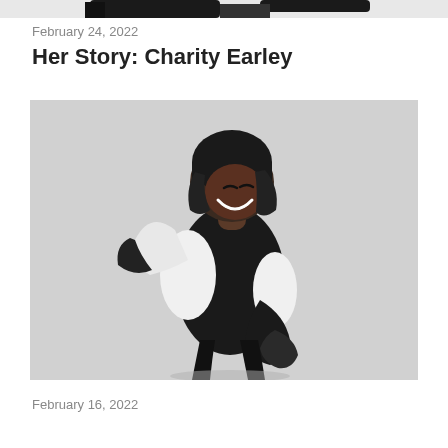[Figure (photo): Partial cropped photo at top of page showing dark shapes against white background — appears to be the bottom of a previous article's image]
February 24, 2022
Her Story: Charity Earley
[Figure (photo): Black and white photograph of a smiling young woman wearing a black beanie hat, black athletic vest over white long-sleeve shirt, black fingerless gloves, in a boxing/fighting pose, laughing joyfully]
February 16, 2022